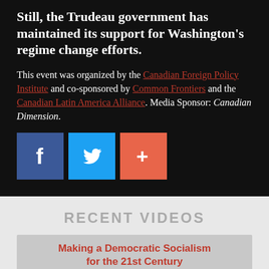Still, the Trudeau government has maintained its support for Washington's regime change efforts.
This event was organized by the Canadian Foreign Policy Institute and co-sponsored by Common Frontiers and the Canadian Latin America Alliance. Media Sponsor: Canadian Dimension.
[Figure (other): Social media share buttons: Facebook (blue), Twitter (light blue), and a red/orange plus button]
RECENT VIDEOS
[Figure (other): Video card thumbnail: Making a Democratic Socialism for the 21st Century, with bookshelf background image]